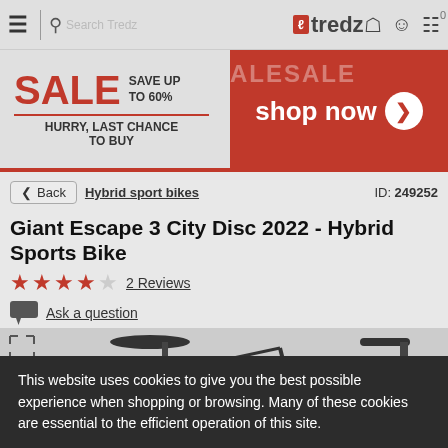tredz — navigation bar with hamburger menu, search, logo, user icon, cart (0)
[Figure (screenshot): Sale banner: SALE SAVE UP TO 60% HURRY, LAST CHANCE TO BUY on left; SALE SALE shop now > on red background right]
< Back  Hybrid sport bikes   ID: 249252
Giant Escape 3 City Disc 2022 - Hybrid Sports Bike
★★★☆☆  2 Reviews
Ask a question
[Figure (photo): Partial photo of a dark hybrid bicycle (saddle and handlebars visible)]
This website uses cookies to give you the best possible experience when shopping or browsing. Many of these cookies are essential to the efficient operation of this site.